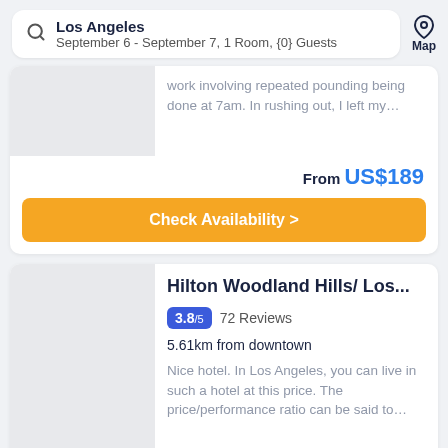Los Angeles
September 6 - September 7, 1 Room, {0} Guests
work involving repeated pounding being done at 7am. In rushing out, I left my…
From US$189
Check Availability >
Hilton Woodland Hills/ Los...
3.8/5  72 Reviews
5.61km from downtown
Nice hotel. In Los Angeles, you can live in such a hotel at this price. The price/performance ratio can be said to…
From US$210
Check Availability >